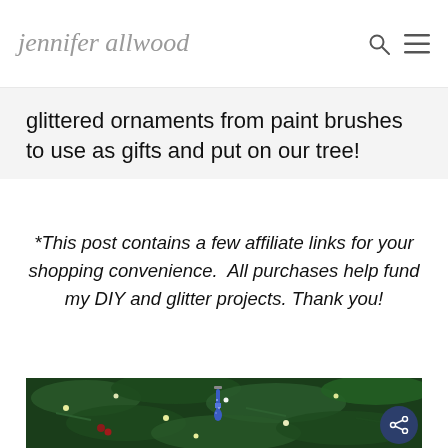jennifer allwood
glittered ornaments from paint brushes to use as gifts and put on our tree!
*This post contains a few affiliate links for your shopping convenience. All purchases help fund my DIY and glitter projects. Thank you!
[Figure (photo): A glittered blue paint brush ornament hanging on a Christmas tree decorated with lights]